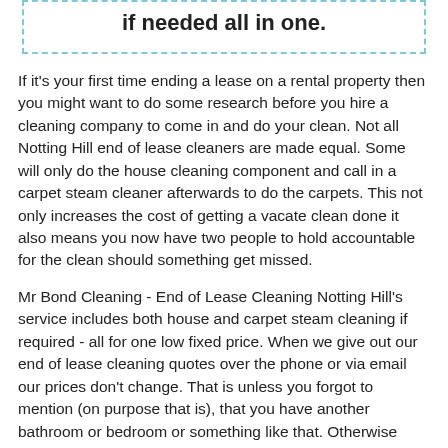if needed all in one.
If it's your first time ending a lease on a rental property then you might want to do some research before you hire a cleaning company to come in and do your clean. Not all Notting Hill end of lease cleaners are made equal. Some will only do the house cleaning component and call in a carpet steam cleaner afterwards to do the carpets. This not only increases the cost of getting a vacate clean done it also means you now have two people to hold accountable for the clean should something get missed.
Mr Bond Cleaning - End of Lease Cleaning Notting Hill's service includes both house and carpet steam cleaning if required - all for one low fixed price. When we give out our end of lease cleaning quotes over the phone or via email our prices don't change. That is unless you forgot to mention (on purpose that is), that you have another bathroom or bedroom or something like that. Otherwise what you see on the original quote